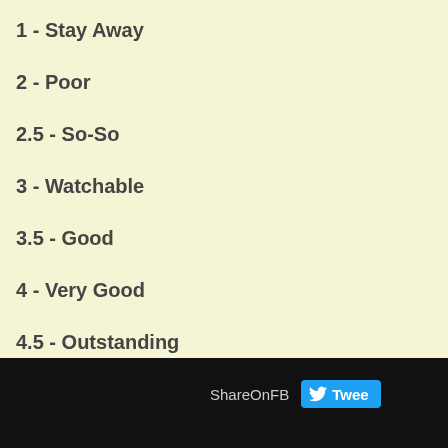1 - Stay Away
2 - Poor
2.5 - So-So
3 - Watchable
3.5 - Good
4 - Very Good
4.5 - Outstanding
5 - Out of this World
ShareOnFB  Tweet